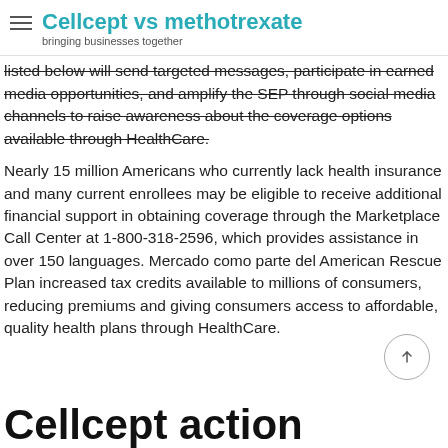Cellcept vs methotrexate — bringing businesses together
listed below will send targeted messages, participate in earned media opportunities, and amplify the SEP through social media channels to raise awareness about the coverage options available through HealthCare.
Nearly 15 million Americans who currently lack health insurance and many current enrollees may be eligible to receive additional financial support in obtaining coverage through the Marketplace Call Center at 1-800-318-2596, which provides assistance in over 150 languages. Mercado como parte del American Rescue Plan increased tax credits available to millions of consumers, reducing premiums and giving consumers access to affordable, quality health plans through HealthCare.
Cellcept action